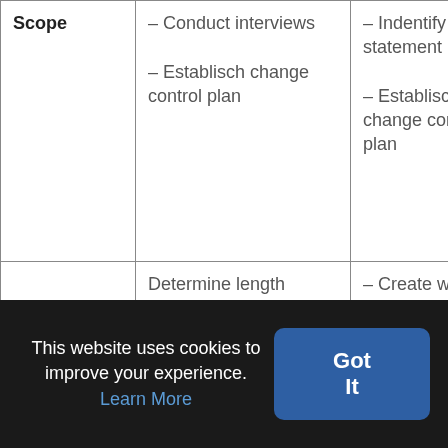|  |  |  |
| --- | --- | --- |
| Scope | – Conduct interviews
– Establisch change control plan | – Indentify scope statement
– Establisch change control plan |
|  | Determine length | – Create work breakdown |
This website uses cookies to improve your experience. Learn More